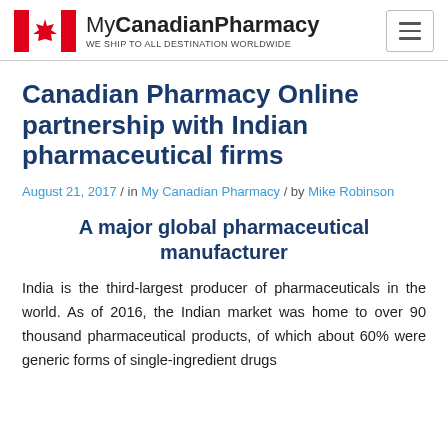MyCanadianPharmacy — WE SHIP TO ALL DESTINATION WORLDWIDE
Canadian Pharmacy Online partnership with Indian pharmaceutical firms
August 21, 2017 / in My Canadian Pharmacy / by Mike Robinson
A major global pharmaceutical manufacturer
India is the third-largest producer of pharmaceuticals in the world. As of 2016, the Indian market was home to over 90 thousand pharmaceutical products, of which about 60% were generic forms of single-ingredient drugs